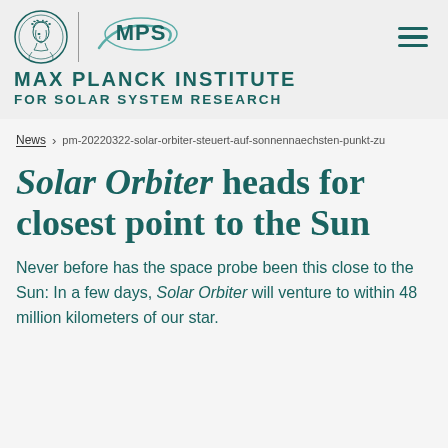[Figure (logo): Max Planck Institute for Solar System Research logo with Minerva head medallion, vertical divider, and MPS swoosh text logo]
MAX PLANCK INSTITUTE FOR SOLAR SYSTEM RESEARCH
News > pm-20220322-solar-orbiter-steuert-auf-sonnennaechsten-punkt-zu
Solar Orbiter heads for closest point to the Sun
Never before has the space probe been this close to the Sun: In a few days, Solar Orbiter will venture to within 48 million kilometers of our star.